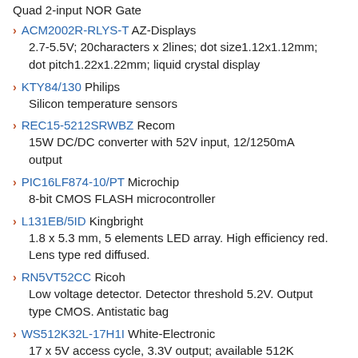Quad 2-input NOR Gate
ACM2002R-RLYS-T AZ-Displays
2.7-5.5V; 20characters x 2lines; dot size1.12x1.12mm; dot pitch1.22x1.22mm; liquid crystal display
KTY84/130 Philips
Silicon temperature sensors
REC15-5212SRWBZ Recom
15W DC/DC converter with 52V input, 12/1250mA output
PIC16LF874-10/PT Microchip
8-bit CMOS FLASH microcontroller
L131EB/5ID Kingbright
1.8 x 5.3 mm, 5 elements LED array. High efficiency red. Lens type red diffused.
RN5VT52CC Ricoh
Low voltage detector. Detector threshold 5.2V. Output type CMOS. Antistatic bag
WS512K32L-17H1I White-Electronic
17 ...